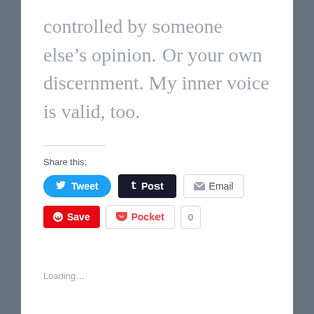controlled by someone else's opinion. Or your own discernment. My inner voice is valid, too.
Share this:
[Figure (screenshot): Share buttons: Tweet (Twitter/blue), Post (Tumblr/dark), Email (grey outline), Save (Pinterest/red), Pocket (white outline with count 0)]
Loading...